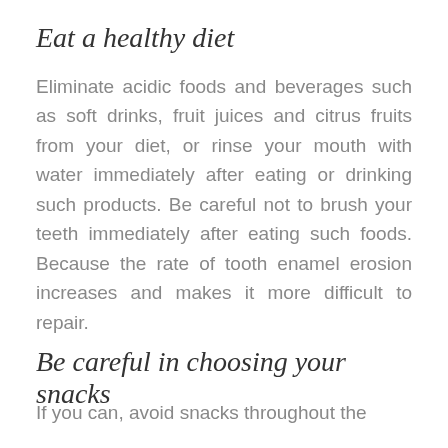Eat a healthy diet
Eliminate acidic foods and beverages such as soft drinks, fruit juices and citrus fruits from your diet, or rinse your mouth with water immediately after eating or drinking such products. Be careful not to brush your teeth immediately after eating such foods. Because the rate of tooth enamel erosion increases and makes it more difficult to repair.
Be careful in choosing your snacks
If you can, avoid snacks throughout the